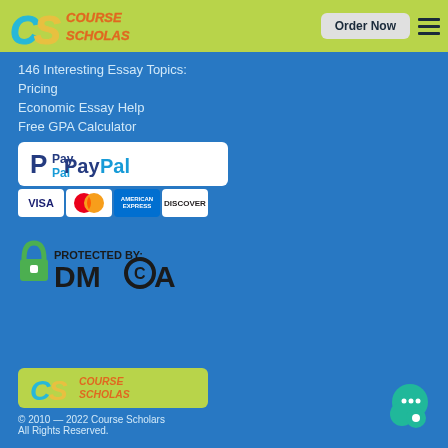Course Scholars — Order Now
146 Interesting Essay Topics:
Pricing
Economic Essay Help
Free GPA Calculator
[Figure (logo): PayPal logo and credit card icons: Visa, Mastercard, American Express, Discover]
[Figure (logo): PROTECTED BY: DMCA badge with padlock icon]
[Figure (logo): Course Scholars footer logo]
© 2010 — 2022 Course Scholars All Rights Reserved.